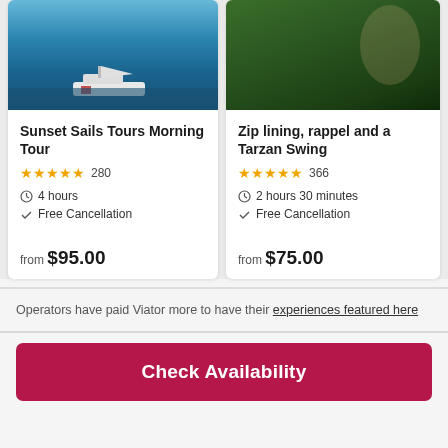[Figure (photo): Partial view of a boat on blue ocean water, top portion of a tour card image]
[Figure (photo): Partial view of a person in green foliage, top portion of a zip lining tour card image]
Sunset Sails Tours Morning Tour
★★★★★ 280
4 hours
Free Cancellation
from $95.00
Zip lining, rappel and a Tarzan Swing
★★★★★ 366
2 hours 30 minutes
Free Cancellation
from $75.00
Operators have paid Viator more to have their experiences featured here
Check Availability